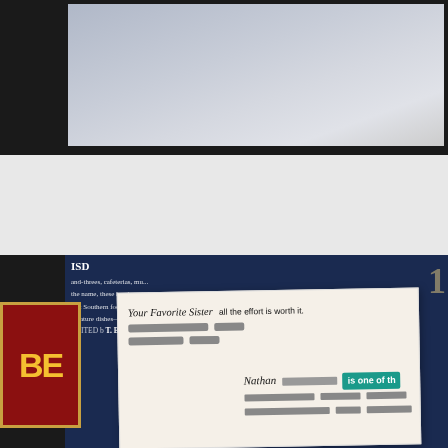[Figure (photo): Top portion showing a framed gray/silver toned photo against a dark frame background]
[Figure (photo): Bottom composite photo showing: a blue magazine page with text about Southern food favorites from Maryland to Texas, edited by BLACK; overlaid with a white envelope addressed from 'Your Favorite Sister' with handwritten text 'all the effort is worth it.' and to 'Nathan [redacted]' with a teal label reading 'is one of th[e]'; a red BE sign visible on the left; redacted address lines on both return and destination addresses]